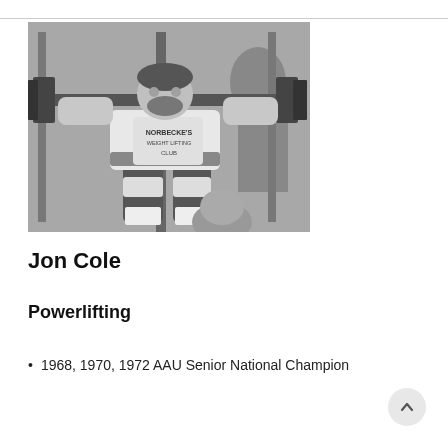[Figure (photo): Black and white photograph of Jon Cole, a powerlifter, performing a squat with a heavy barbell on his shoulders. He is wearing a shirt that reads 'Norbecke's Weight Lifting Club'. The photo appears to be from the 1960s or 1970s.]
Jon Cole
Powerlifting
1968, 1970, 1972 AAU Senior National Champion